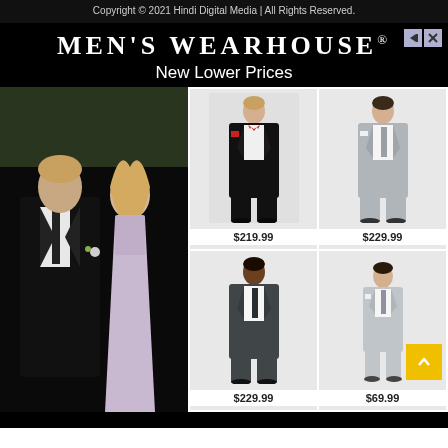Copyright © 2021 Hindi Digital Media | All Rights Reserved.
[Figure (photo): Men's Wearhouse advertisement banner with logo, 'New Lower Prices' tagline, hero image of couple in formalwear, and 4 suit product images priced at $219.99, $229.99, $229.99, $69.99]